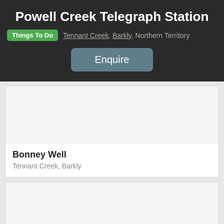Powell Creek Telegraph Station
Things To Do   Tennant Creek, Barkly, Northern Territory
Enquire
Bonney Well
Tennant Creek, Barkly